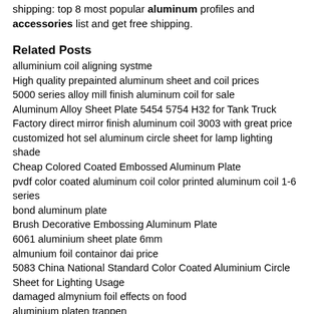shipping: top 8 most popular aluminum profiles and accessories list and get free shipping.
Related Posts
alluminium coil aligning systme
High quality prepainted aluminum sheet and coil prices
5000 series alloy mill finish aluminum coil for sale
Aluminum Alloy Sheet Plate 5454 5754 H32 for Tank Truck
Factory direct mirror finish aluminum coil 3003 with great price
customized hot sel aluminum circle sheet for lamp lighting shade
Cheap Colored Coated Embossed Aluminum Plate
pvdf color coated aluminum coil color printed aluminum coil 1-6 series
bond aluminum plate
Brush Decorative Embossing Aluminum Plate
6061 aluminium sheet plate 6mm
almunium foil containor dai price
5083 China National Standard Color Coated Aluminium Circle Sheet for Lighting Usage
damaged almynium foil effects on food
aluminium platen trappen
Flexible Aluminum Foil Pipe with Factory Price
coiling aluminum foil in ghana